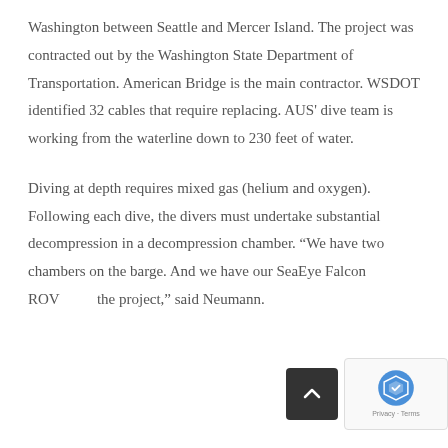Washington between Seattle and Mercer Island. The project was contracted out by the Washington State Department of Transportation. American Bridge is the main contractor. WSDOT identified 32 cables that require replacing. AUS' dive team is working from the waterline down to 230 feet of water.
Diving at depth requires mixed gas (helium and oxygen). Following each dive, the divers must undertake substantial decompression in a decompression chamber. “We have two chambers on the barge. And we have our SeaEye Falcon ROV on the project,” said Neumann.